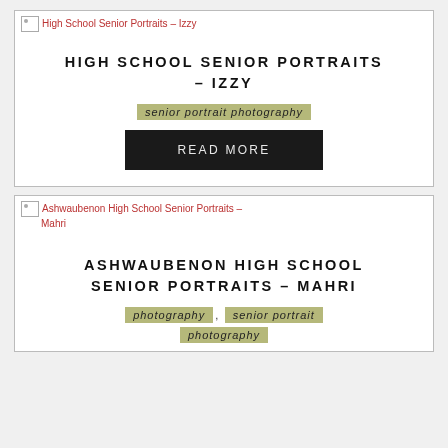[Figure (other): Broken image placeholder for High School Senior Portraits – Izzy]
HIGH SCHOOL SENIOR PORTRAITS – IZZY
senior portrait photography
READ MORE
[Figure (other): Broken image placeholder for Ashwaubenon High School Senior Portraits – Mahri]
ASHWAUBENON HIGH SCHOOL SENIOR PORTRAITS – MAHRI
photography, senior portrait photography